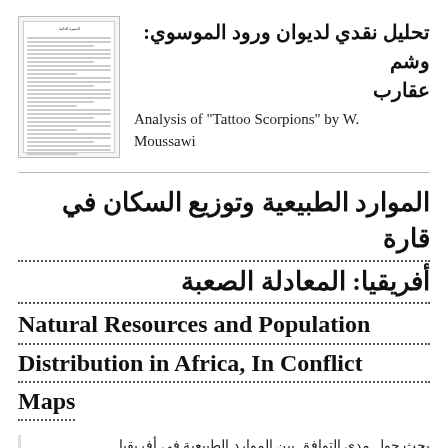[Figure (other): Thumbnail image of a document page with Arabic title text and body text lines]
تحليل نقدي لديوان ورود الموسوي: وشم عقارب
Analysis of "Tattoo Scorpions" by W. Moussawi
الموارد الطبيعية وتوزيع السكان في قارة أفريقيا: المعادلة الصعبة
Natural Resources and Population Distribution in Africa, In Conflict Maps
بحث حول مدى التوافق بين الموارد الطبيعية في أفريقيا وتوزيع السكان
The compatibility between Africa's natural resources and its population